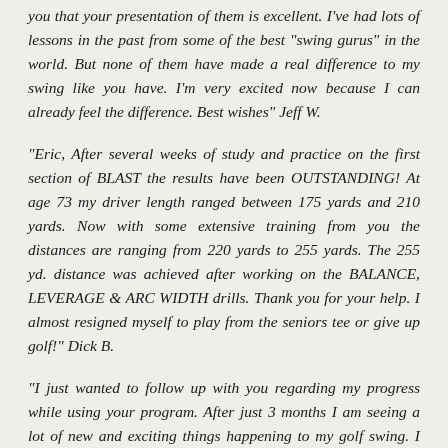you that your presentation of them is excellent. I've had lots of lessons in the past from some of the best "swing gurus" in the world. But none of them have made a real difference to my swing like you have. I'm very excited now because I can already feel the difference. Best wishes" Jeff W.
"Eric, After several weeks of study and practice on the first section of BLAST the results have been OUTSTANDING! At age 73 my driver length ranged between 175 yards and 210 yards. Now with some extensive training from you the distances are ranging from 220 yards to 255 yards. The 255 yd. distance was achieved after working on the BALANCE, LEVERAGE & ARC WIDTH drills. Thank you for your help. I almost resigned myself to play from the seniors tee or give up golf!" Dick B.
"I just wanted to follow up with you regarding my progress while using your program. After just 3 months I am seeing a lot of new and exciting things happening to my golf swing. I find that I am hitting all of my clubs longer and more squarely than ever before. Every shot I hit now feels like it is hitting the sweet spot and is